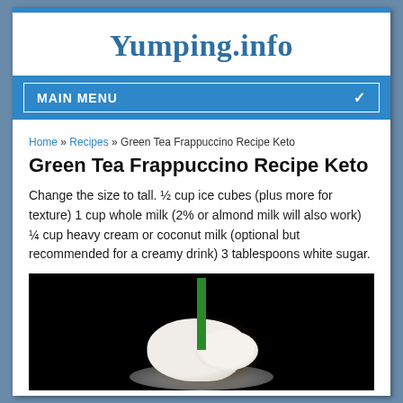Yumping.info
MAIN MENU
Home » Recipes » Green Tea Frappuccino Recipe Keto
Green Tea Frappuccino Recipe Keto
Change the size to tall. ½ cup ice cubes (plus more for texture) 1 cup whole milk (2% or almond milk will also work) ¼ cup heavy cream or coconut milk (optional but recommended for a creamy drink) 3 tablespoons white sugar.
[Figure (photo): Photo of a green tea frappuccino in a dark cup with whipped cream on top and a green straw, dark background]